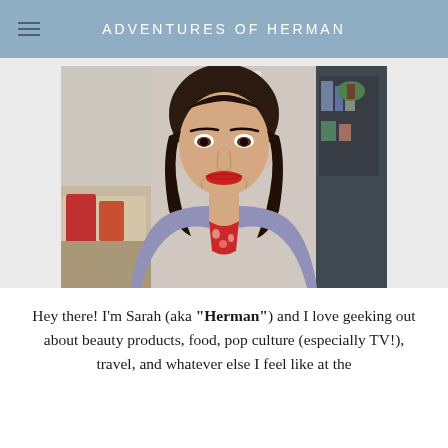ADVENTURES OF HERMAN
[Figure (photo): Portrait photo of a woman with dark wavy hair, wearing a grey cardigan over a red floral top, smiling at the camera. Background shows a cozy room interior with shelves and plants.]
Hey there! I'm Sarah (aka "Herman") and I love geeking out about beauty products, food, pop culture (especially TV!), travel, and whatever else I feel like at the